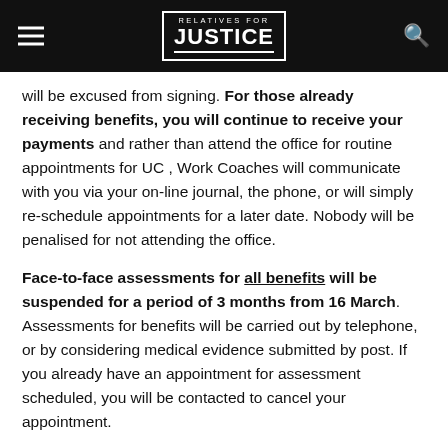RELATIVES FOR JUSTICE
will be excused from signing. For those already receiving benefits, you will continue to receive your payments and rather than attend the office for routine appointments for UC , Work Coaches will communicate with you via your on-line journal, the phone, or will simply re-schedule appointments for a later date. Nobody will be penalised for not attending the office.
Face-to-face assessments for all benefits will be suspended for a period of 3 months from 16 March. Assessments for benefits will be carried out by telephone, or by considering medical evidence submitted by post. If you already have an appointment for assessment scheduled, you will be contacted to cancel your appointment.